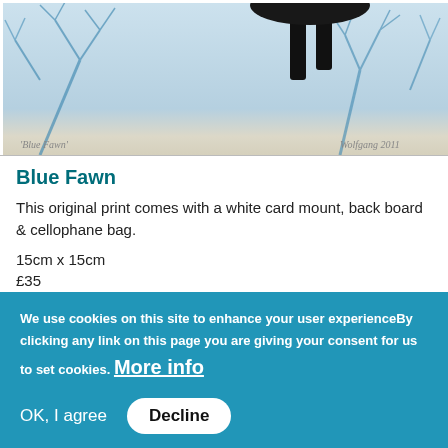[Figure (illustration): Artwork showing a blue fawn/deer print with blue foliage background, black legs visible at top, signed 'Blue Fawn' and dated 2011]
Blue Fawn
This original print comes with a white card mount, back board & cellophane bag.
15cm x 15cm
£35
Contact artist
We use cookies on this site to enhance your user experienceBy clicking any link on this page you are giving your consent for us to set cookies. More info
OK, I agree
Decline